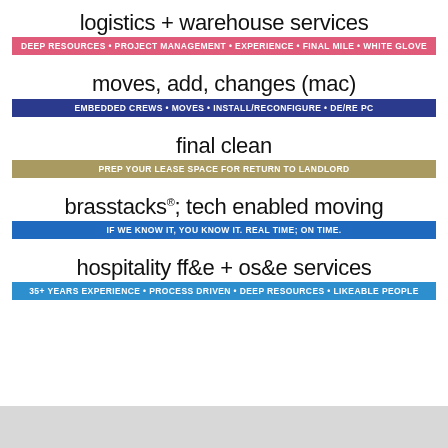logistics + warehouse services
DEEP RESOURCES • PROJECT MANAGEMENT • EXPERIENCE • FINAL MILE • WHITE GLOVE
moves, add, changes (mac)
EMBEDDED CREWS • MOVES • INSTALL/RECONFIGURE • DE/RE PC
final clean
PREP YOUR LEASE SPACE FOR RETURN TO LANDLORD
brasstacks®; tech enabled moving
IF WE KNOW IT, YOU KNOW IT. REAL TIME; ON TIME.
hospitality ff&e + os&e services
35+ YEARS EXPERIENCE • PROCESS DRIVEN • DEEP RESOURCES • LIKEABLE PEOPLE